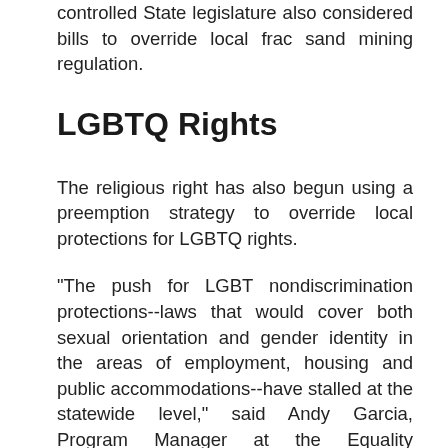controlled State legislature also considered bills to override local frac sand mining regulation.
LGBTQ Rights
The religious right has also begun using a preemption strategy to override local protections for LGBTQ rights.
"The push for LGBT nondiscrimination protections--laws that would cover both sexual orientation and gender identity in the areas of employment, housing and public accommodations--have stalled at the statewide level," said Andy Garcia, Program Manager at the Equality Federation. "As a result, efforts have shifted to the city and county level in the form of municipal nondiscrimination ordinances."
"Hundreds of these [nondiscrimination ordinances]